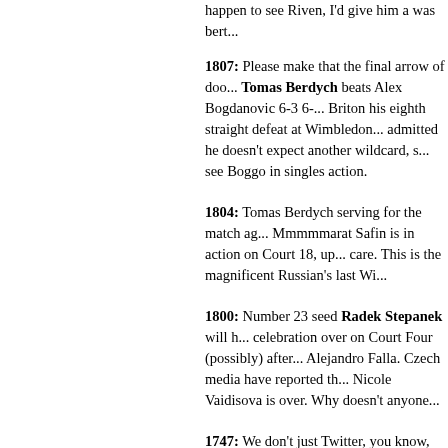happen to see Riven, I'd give him a was bert...
1807: Please make that the final arrow of doo... Tomas Berdych beats Alex Bogdanovic 6-3 6-... Briton his eighth straight defeat at Wimbledon... admitted he doesn't expect another wildcard, s... see Boggo in singles action.
1804: Tomas Berdych serving for the match ag... Mmmmmarat Safin is in action on Court 18, up... care. This is the magnificent Russian's last Wi...
1800: Number 23 seed Radek Stepanek will h... celebration over on Court Four (possibly) after... Alejandro Falla. Czech media have reported th... Nicole Vaidisova is over. Why doesn't anyone...
1747: We don't just Twitter, you know, we flickr... Cheese-eye view from Commentary Box Four... the first set against Robbie Kendrick. Tom is w...
1742: Alex Bogdanovic does indeed lose the s... Berdych and now trails 6-3 6-4 on Court Two.... Carlos Ferrero has taken the first set against M... was once so furious with himself, he battered...